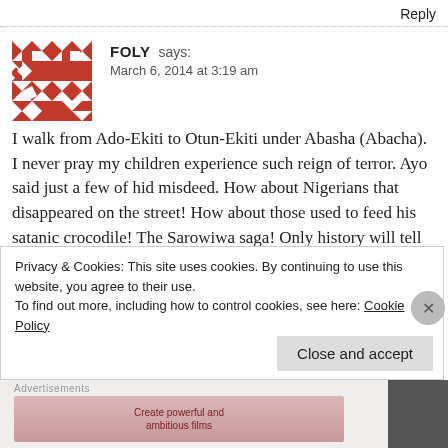Reply
[Figure (illustration): Red and white geometric patterned avatar/avatar icon for user FOLY]
FOLY says:
March 6, 2014 at 3:19 am
I walk from Ado-Ekiti to Otun-Ekiti under Abasha (Abacha). I never pray my children experience such reign of terror. Ayo said just a few of hid misdeed. How about Nigerians that disappeared on the street! How about those used to feed his satanic crocodile! The Sarowiwa saga! Only history will tell the number.
Thank u Ayo, more blessing.
Privacy & Cookies: This site uses cookies. By continuing to use this website, you agree to their use.
To find out more, including how to control cookies, see here: Cookie Policy
Close and accept
Advertisements